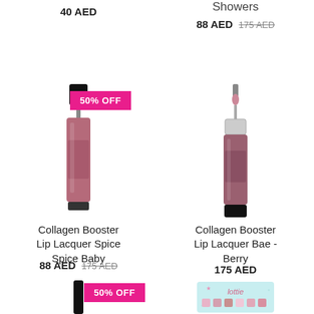40 AED
Showers
88 AED  175 AED (strikethrough)
[Figure (photo): Lip lacquer product with 50% OFF badge - Collagen Booster Lip Lacquer Spice Spice Baby]
[Figure (photo): Lip lacquer product - Collagen Booster Lip Lacquer Bae - Berry]
Collagen Booster Lip Lacquer Spice Spice Baby
88 AED  175 AED (strikethrough)
Collagen Booster Lip Lacquer Bae - Berry
175 AED
[Figure (photo): Bottom left product with 50% OFF badge]
[Figure (photo): Bottom right product - Lottie brand makeup palette]